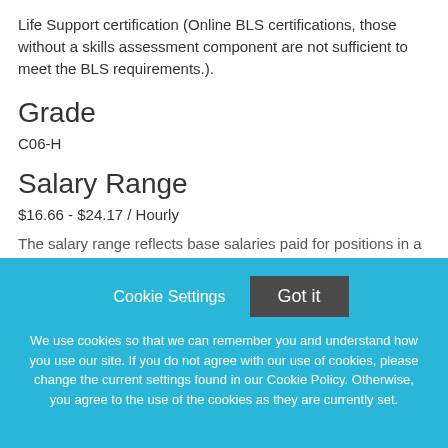Life Support certification (Online BLS certifications, those without a skills assessment component are not sufficient to meet the BLS requirements.).
Grade
C06-H
Salary Range
$16.66 - $24.17 / Hourly
The salary range reflects base salaries paid for positions in a given job grade
Cookie Settings
Got it
We use cookies so that we can remember you and understand how you use our site. If you do not agree with our use of cookies, please change the current settings found in our Cookie Policy. Otherwise, you agree to the use of the cookies as they are currently set.